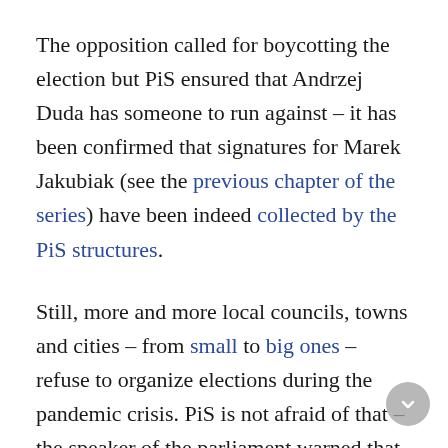The opposition called for boycotting the election but PiS ensured that Andrzej Duda has someone to run against – it has been confirmed that signatures for Marek Jakubiak (see the previous chapter of the series) have been indeed collected by the PiS structures.
Still, more and more local councils, towns and cities – from small to big ones – refuse to organize elections during the pandemic crisis. PiS is not afraid of that – the speaker of the parliament warned that if the local governments won't listen to the government, they will be replaced by the government-appointed commissaries.
So if the country is in turmoil, why the government won't simply end it all once for good? Why don't they answer the popular demand (some churches found such signs on their closed doors) or advice of the experts such as Antoni